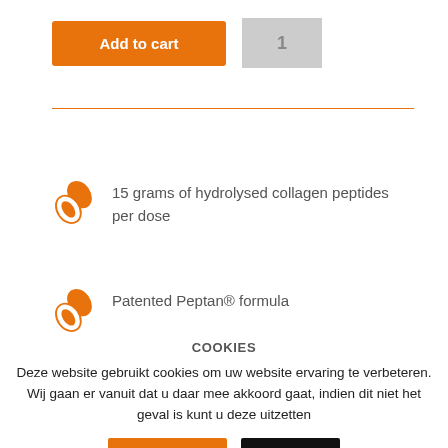[Figure (screenshot): Add to cart orange button and quantity box showing 1]
15 grams of hydrolysed collagen peptides per dose
Patented Peptan® formula
COOKIES
Deze website gebruikt cookies om uw website ervaring te verbeteren. Wij gaan er vanuit dat u daar mee akkoord gaat, indien dit niet het geval is kunt u deze uitzetten
[Figure (screenshot): Accepteren (orange) and afwijzen (black) buttons]
Lees meer